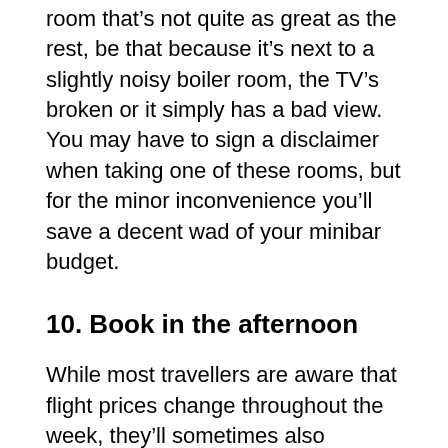room that's not quite as great as the rest, be that because it's next to a slightly noisy boiler room, the TV's broken or it simply has a bad view. You may have to sign a disclaimer when taking one of these rooms, but for the minor inconvenience you'll save a decent wad of your minibar budget.
10. Book in the afternoon
While most travellers are aware that flight prices change throughout the week, they'll sometimes also fluctuate throughout the day. Studies have shown that, on the whole, prices are higher in the morning, since this is when business travellers are more likely to book.